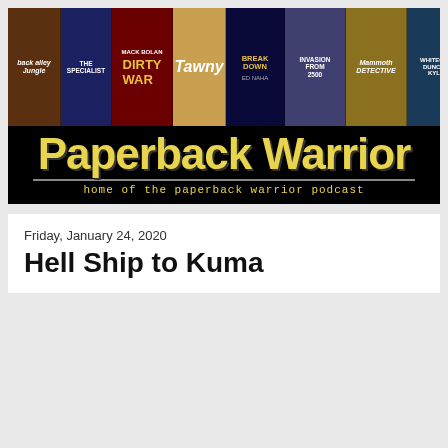[Figure (illustration): Paperback Warrior blog banner showing a row of vintage paperback book covers across the top portion, including titles such as 'back alley jungle', 'The Specialist', 'Dirty War', 'Tawny', 'Breakdown', 'Invasion from 2500', 'Mammoth Detective', and 'Whiteout Duncan Kyle'. Below the covers is a black banner with 'Paperback Warrior' in large yellow bold text and the subtitle 'home of the paperback warrior podcast' in yellow monospace text.]
Friday, January 24, 2020
Hell Ship to Kuma